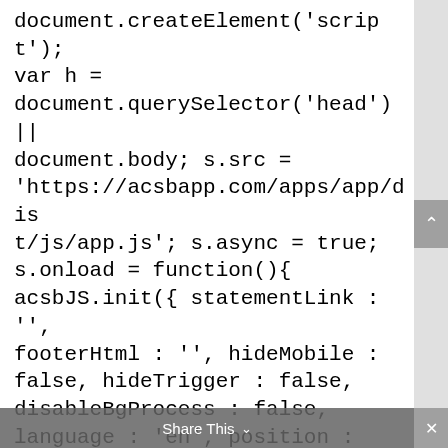document.createElement('script');
var h =
document.querySelector('head') ||
document.body; s.src =
'https://acsbapp.com/apps/app/dis
t/js/app.js'; s.async = true;
s.onload = function(){
acsbJS.init({ statementLink : '',
footerHtml : '', hideMobile :
false, hideTrigger : false,
disableBgProcess : false,
language : 'en', position :
'right', leadColor : '#146FF8',
triggerColor : '#146FF8',
triggerRadius : '50%',
triggerPositionX : 'right',
triggerPositionY : 'bottom',
[Figure (screenshot): UI overlay: a grey scrollbar area on the right with a dark grey 'scroll up' arrow button, a semi-transparent grey 'Share This' bar at the bottom center with a downward chevron, and an 'x' close button at the bottom right.]